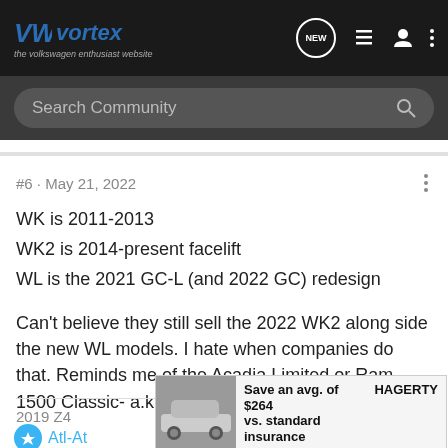VWvortex — the volkswagen enthusiast website
Search Community
#6 · May 21, 2022
WK is 2011-2013
WK2 is 2014-present facelift
WL is the 2021 GC-L (and 2022 GC) redesign

Can't believe they still sell the 2022 WK2 along side the new WL models. I hate when companies do that. Reminds me of the Acadia Limited or Ram 1500 Classic- a.k.a. rental car specials.
2019 Z4
[Figure (screenshot): Hagerty insurance advertisement: Save an avg. of $264 vs. standard insurance, Quote insurance button, with classic car image]
Atl-At